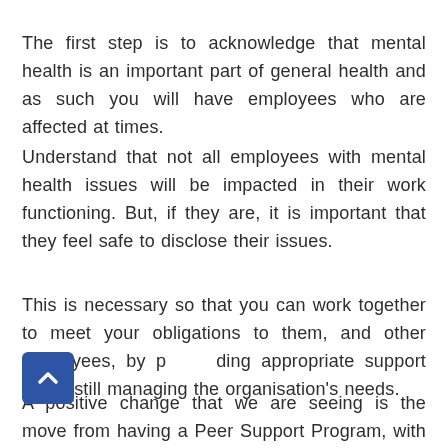The first step is to acknowledge that mental health is an important part of general health and as such you will have employees who are affected at times.
Understand that not all employees with mental health issues will be impacted in their work functioning. But, if they are, it is important that they feel safe to disclose their issues.
This is necessary so that you can work together to meet your obligations to them, and other employees, by providing appropriate support whilst still managing the organisation's needs.
A positive change that we are seeing is the move from having a Peer Support Program, with designated Peer